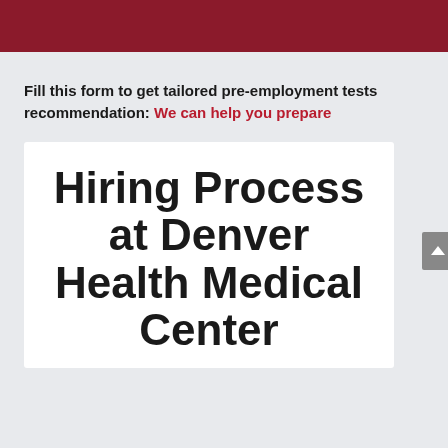[Figure (other): Dark red/maroon header bar at top of page]
Fill this form to get tailored pre-employment tests recommendation: We can help you prepare
Hiring Process at Denver Health Medical Center